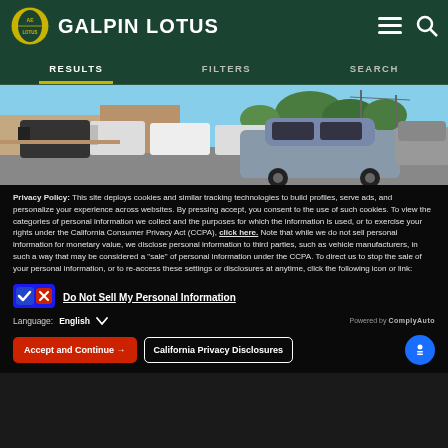GALPIN LOTUS
[Figure (screenshot): Navigation tabs showing RESULTS (active with yellow underline), FILTERS, SEARCH on dark green background]
[Figure (photo): Outdoor parking lot scene with cars including a grey sedan in foreground, white vans in background, trees and blue sky]
Privacy Policy: This site deploys cookies and similar tracking technologies to build profiles, serve ads, and personalize your experience across websites. By pressing accept, you consent to the use of such cookies. To view the categories of personal information we collect and the purposes for which the information is used, or to exercise your rights under the California Consumer Privacy Act (CCPA), click here. Note that while we do not sell personal information for monetary value, we disclose personal information to third parties, such as vehicle manufacturers, in such a way that may be considered a "sale" of personal information under the CCPA. To direct us to stop the sale of your personal information, or to re-access these settings or disclosures at anytime, click the following icon or link:
Do Not Sell My Personal Information
Language: English
Powered by ComplyAuto
Accept and Continue → California Privacy Disclosures